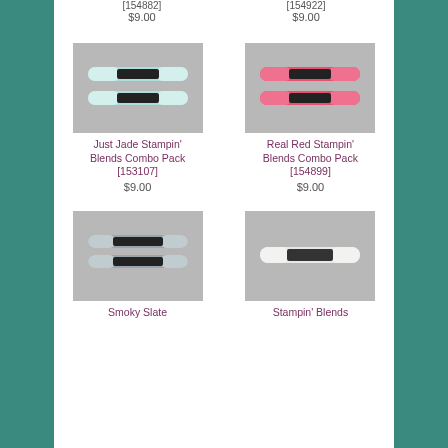[154882]
$9.00
[154922]
$9.00
[Figure (photo): Two mint/jade colored Stampin' Blends markers side by side on gray background]
Just Jade Stampin' Blends Combo Pack [153107]
$9.00
[Figure (photo): Two red/coral colored Stampin' Blends markers side by side on gray background]
Real Red Stampin' Blends Combo Pack [154899]
$9.00
[Figure (photo): Two smoky slate colored Stampin' Blends markers side by side on gray background]
Smoky Slate
[Figure (photo): Single white/light Stampin' Blends marker on gray background]
Stampin' Blends